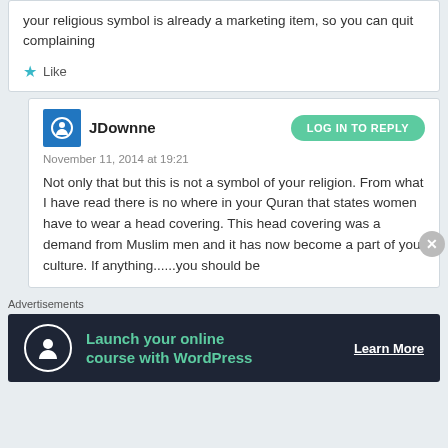your religious symbol is already a marketing item, so you can quit complaining
Like
JDownne
November 11, 2014 at 19:21
Not only that but this is not a symbol of your religion. From what I have read there is no where in your Quran that states women have to wear a head covering. This head covering was a demand from Muslim men and it has now become a part of your culture. If anything......you should be
Advertisements
[Figure (infographic): Ad banner with dark background showing 'Launch your online course with WordPress' with a Learn More button and a person icon in a circle]